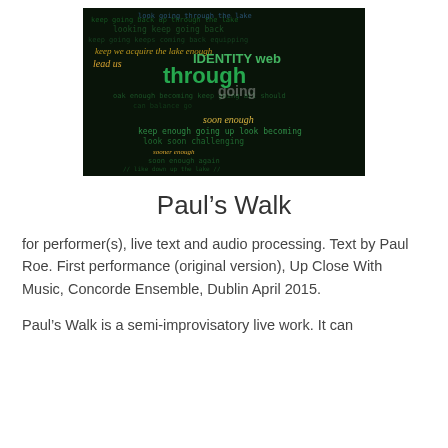[Figure (photo): A dark word-cloud image with layered text in green, yellow, blue, and white colors on a near-black background. Words include phrases like 'lead us', 'keep going', 'soon enough', and other repeated textual fragments.]
Paul’s Walk
for performer(s), live text and audio processing. Text by Paul Roe. First performance (original version), Up Close With Music, Concorde Ensemble, Dublin April 2015.
Paul’s Walk is a semi-improvisatory live work. It can